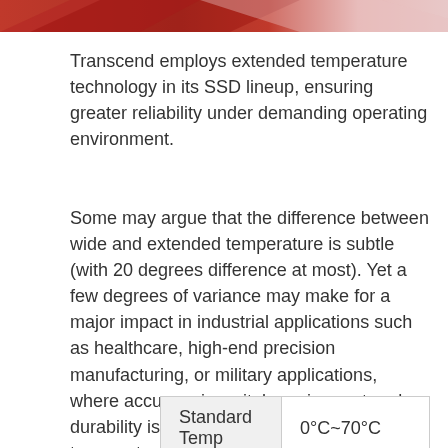[Figure (photo): Red and pink abstract/decorative banner image at the top of the page]
Transcend employs extended temperature technology in its SSD lineup, ensuring greater reliability under demanding operating environment.
Some may argue that the difference between wide and extended temperature is subtle (with 20 degrees difference at most). Yet a few degrees of variance may make for a major impact in industrial applications such as healthcare, high-end precision manufacturing, or military applications, where accuracy is a vital requirement and durability is non-negotiable. With this temperature option, Transcend offers a more flexible and diverse range of solutions for embedded applications.
| Standard Temp | 0°C~70°C |
| --- | --- |